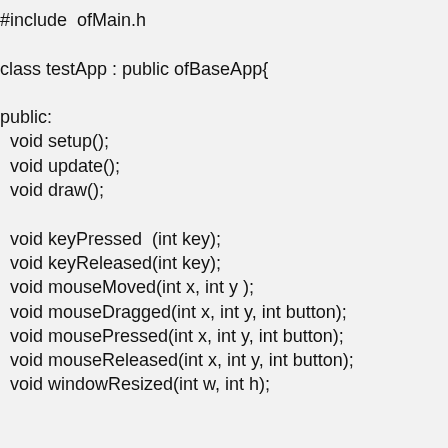#include "ofMain.h"

class testApp : public ofBaseApp{

public:
  void setup();
  void update();
  void draw();

  void keyPressed  (int key);
  void keyReleased(int key);
  void mouseMoved(int x, int y );
  void mouseDragged(int x, int y, int button);
  void mousePressed(int x, int y, int button);
  void mouseReleased(int x, int y, int button);
  void windowResized(int w, int h);